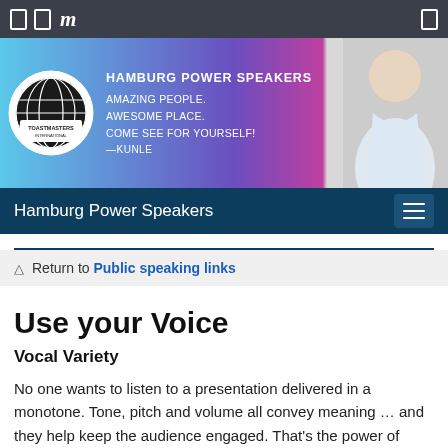[Figure (screenshot): Top navigation bar with two rectangle icons, italic bold 'm' logo (Meetup), and a rectangle icon on the right, all on dark gray background]
[Figure (illustration): Toastmasters International Hamburg Power Speakers banner with globe logo, text 'HAMBURG POWER SPEAKERS / AMAZING PEOPLE. AWESOME PLACE. COME SEE FOR YOURSELF! —KUNLE', gradient blue to purple background, and smiling man photo on right]
Hamburg Power Speakers
↑ Return to Public speaking links
Use your Voice
Vocal Variety
No one wants to listen to a presentation delivered in a monotone. Tone, pitch and volume all convey meaning … and they help keep the audience engaged. That's the power of